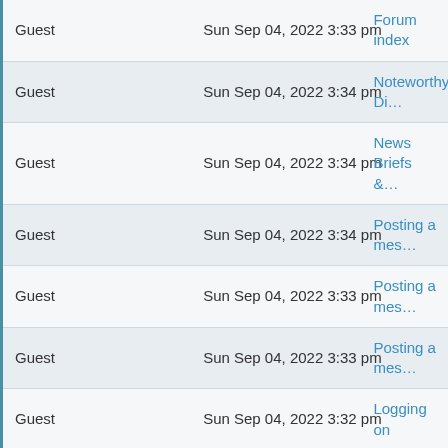| User | Time | Location |
| --- | --- | --- |
| Guest | Sun Sep 04, 2022 3:33 pm | Forum index |
| Guest | Sun Sep 04, 2022 3:34 pm | Noteworthy Di... |
| Guest | Sun Sep 04, 2022 3:34 pm | News Briefs &... |
| Guest | Sun Sep 04, 2022 3:34 pm | Posting a mes... |
| Guest | Sun Sep 04, 2022 3:33 pm | Posting a mes... |
| Guest | Sun Sep 04, 2022 3:33 pm | Posting a mes... |
| Guest | Sun Sep 04, 2022 3:32 pm | Logging on |
| Guest | Sun Sep 04, 2022 3:35 pm | Logging on |
| Guest | Sun Sep 04, 2022 3:32 pm | Searching foru... |
| Guest | Sun Sep 04, 2022 3:32 pm | News Briefs &... |
| Guest | Sun Sep 04, 2022 3:32 pm | General Discus... Announcements... |
| Guest | Sun Sep 04, 2022 3:33 pm | Searching foru... |
| Guest | Sun Sep 04, 2022 3:36 pm | General Discus... Announcements... |
| Guest | Sun Sep 04, 2022 3:33 pm | Searching foru... |
| Guest | Sun Sep 04, 2022 3:31 pm | Logging on |
| Guest | Sun Sep 04, 2022 3:34 pm | Logging on |